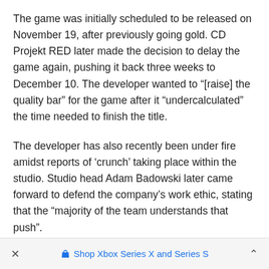The game was initially scheduled to be released on November 19, after previously going gold. CD Projekt RED later made the decision to delay the game again, pushing it back three weeks to December 10. The developer wanted to “[raise] the quality bar” for the game after it “undercalculated” the time needed to finish the title.
The developer has also recently been under fire amidst reports of ‘crunch’ taking place within the studio. Studio head Adam Badowski later came forward to defend the company’s work ethic, stating that the “majority of the team understands that push”.
Ww2.Click Game
×   Shop Xbox Series X and Series S   ˄